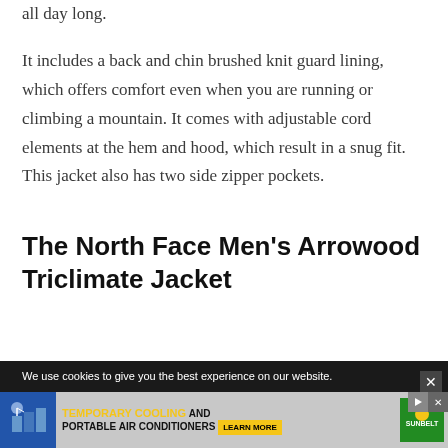all day long.
It includes a back and chin brushed knit guard lining, which offers comfort even when you are running or climbing a mountain. It comes with adjustable cord elements at the hem and hood, which result in a snug fit. This jacket also has two side zipper pockets.
The North Face Men’s Arrowood Triclimate Jacket
We use cookies to give you the best experience on our website.
[Figure (infographic): Advertisement banner for Temporary Cooling and Portable Air Conditioners with a Learn More button and Sunbelt logo]